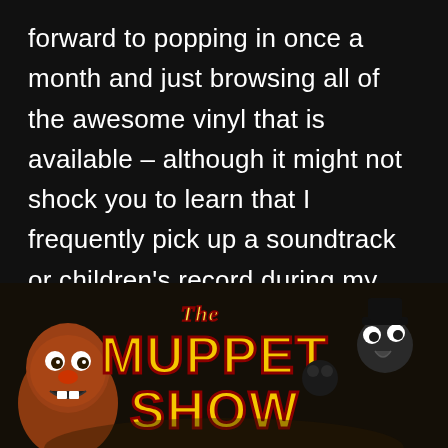forward to popping in once a month and just browsing all of the awesome vinyl that is available – although it might not shock you to learn that I frequently pick up a soundtrack or children's record during my visits.
[Figure (photo): Album cover or promotional image for 'The Muppet Show' showing the Muppet Show logo in large yellow and red stylized lettering with Muppet characters visible including a furry orange character on the left and other muppets around the title text, on a dark background.]